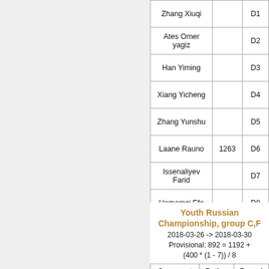| Name | Rating | Code |
| --- | --- | --- |
| Zhang Xiuqi |  | D1 |
| Ates Omer yagiz |  | D2 |
| Han Yiming |  | D3 |
| Xiang Yicheng |  | D4 |
| Zhang Yunshu |  | D5 |
| Laane Rauno | 1263 | D6 |
| Issenaliyev Farid |  | D7 |
| Hamamci Efe |  | D8 |
| Stoyanov Egor | 1301 | D9 |
| Sarikaya Mehmet Deniz |  | D10 |
| Prokopyev Andrei | 1117 | D11 |
Youth Russian Championship, group C,F
2018-03-26 -> 2018-03-30
Provisional: 892 = 1192 + (400 * (1 - 7)) / 8
| Opponent | Rating | Round |
| --- | --- | --- |